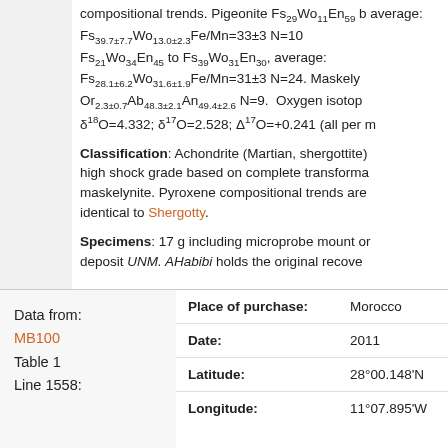compositional trends. Pigeonite Fs29Wo11En59 b average: Fs39.7±7.7Wo13.0±2.3Fe/Mn=33±3 N=10 Fs21Wo34En45 to Fs39Wo31En30, average: Fs28.1±6.2Wo31.6±1.9Fe/Mn=31±3 N=24. Maskely Or2.3±0.7Ab48.3±2.1An49.4±2.6 N=9. Oxygen isotope δ18O=4.332; δ17O=2.528; Δ17O=+0.241 (all per m
Classification: Achondrite (Martian, shergottite) high shock grade based on complete transforma maskelynite. Pyroxene compositional trends are identical to Shergotty.
Specimens: 17 g including microprobe mount or deposit UNM. AHabibi holds the original recove
Data from:
MB100
Table 1
Line 1558:
| Field | Value |
| --- | --- |
| Place of purchase: | Morocco |
| Date: | 2011 |
| Latitude: | 28°00.148'N |
| Longitude: | 11°07.895'W |